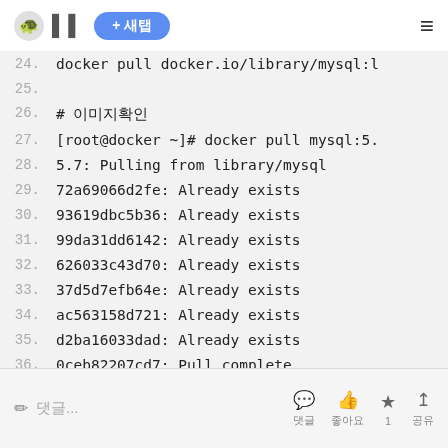🐢 ▌▌ + 새탭 ≡
24.  docker pull docker.io/library/mysql:l
25.
26.  # 이미지확인
27.  [root@docker ~]# docker pull mysql:5.
28.  5.7: Pulling from library/mysql
29.  72a69066d2fe: Already exists
30.  93619dbc5b36: Already exists
31.  99da31dd6142: Already exists
32.  626033c43d70: Already exists
33.  37d5d7efb64e: Already exists
34.  ac563158d721: Already exists
35.  d2ba16033dad: Already exists
36.  0ceb82207cd7: Pull complete
✏ 댓글... 댓글 좋아요 1 공유